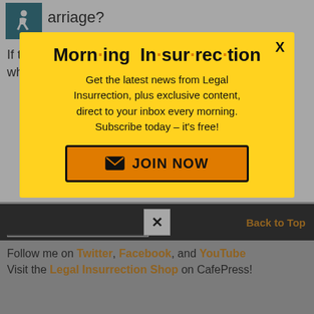arriage?
If there are any King & Spalding attorneys or staff who wish to enlighten me on the atmosphere, I'd
[Figure (screenshot): Modal popup with yellow background. Title: 'Morning Insurrection' with orange dots. Body text: 'Get the latest news from Legal Insurrection, plus exclusive content, direct to your inbox every morning. Subscribe today – it's free!' Orange JOIN NOW button with envelope icon. X close button in top right.]
Follow me on Twitter, Facebook, and YouTube
Visit the Legal Insurrection Shop on CafePress!